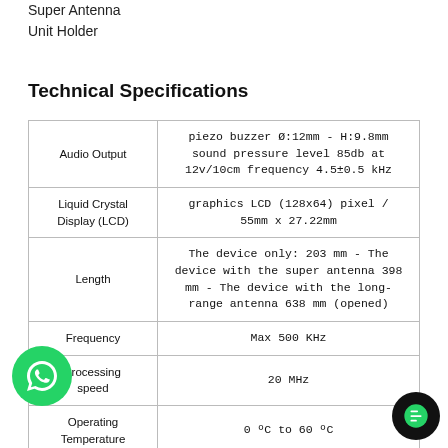Super Antenna
Unit Holder
Technical Specifications
|  |  |
| --- | --- |
| Audio Output | piezo buzzer Ø:12mm - H:9.8mm sound pressure level 85db at 12v/10cm frequency 4.5±0.5 kHz |
| Liquid Crystal Display (LCD) | graphics LCD (128x64) pixel / 55mm x 27.22mm |
| Length | The device only: 203 mm - The device with the super antenna 398 mm - The device with the long-range antenna 638 mm (opened) |
| Frequency | Max 500 KHz |
| processing speed | 20 MHz |
| Operating Temperature | 0 ºC to 60 ºC |